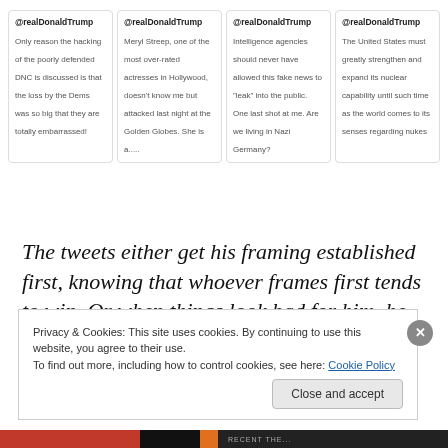[Figure (screenshot): Four tweet cards from @realDonaldTrump displayed in a row. Tweet 1: 'Only reason the hacking of the poorly defended DNC is discussed is that the loss by the Dems was so big that they are totally embarrassed!' Tweet 2: 'Meryl Streep, one of the most over-rated actresses in Hollywood, doesn't know me but attacked last night at the Golden Globes. She is a.....' Tweet 3: 'Intelligence agencies should never have allowed this fake news to "leak" into the public. One last shot at me. Are we living in Nazi Germany?' Tweet 4: 'The United States must greatly strengthen and expand its nuclear capability until such time as the world comes to its senses regarding nukes']
The tweets either get his framing established first, knowing that whoever frames first tends to win. Or when things look bad for him, he diverts attention or attacks the messenger. And when he wants to test public opinion, he puts out an outrageous trial balloon.
Privacy & Cookies: This site uses cookies. By continuing to use this website, you agree to their use. To find out more, including how to control cookies, see here: Cookie Policy